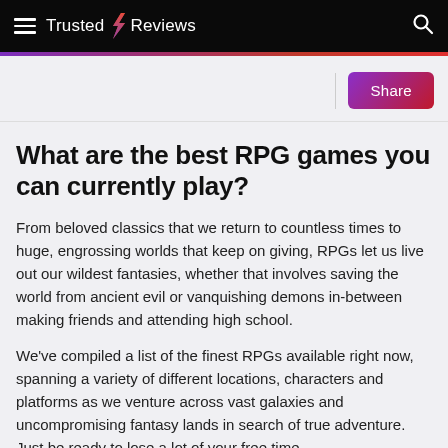Trusted Reviews
What are the best RPG games you can currently play?
From beloved classics that we return to countless times to huge, engrossing worlds that keep on giving, RPGs let us live out our wildest fantasies, whether that involves saving the world from ancient evil or vanquishing demons in-between making friends and attending high school.
We've compiled a list of the finest RPGs available right now, spanning a variety of different locations, characters and platforms as we venture across vast galaxies and uncompromising fantasy lands in search of true adventure. Just be ready to lose a lot of your free time.